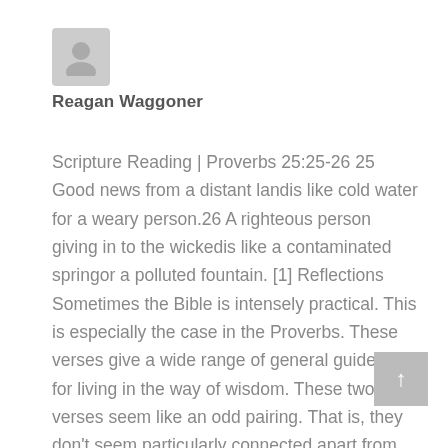[Figure (illustration): Grey avatar/profile placeholder icon — a simple silhouette of a person]
Reagan Waggoner
Scripture Reading | Proverbs 25:25-26 25 Good news from a distant landis like cold water for a weary person.26 A righteous person giving in to the wickedis like a contaminated springor a polluted fountain. [1] Reflections Sometimes the Bible is intensely practical. This is especially the case in the Proverbs. These verses give a wide range of general guidelines for living in the way of wisdom. These two verses seem like an odd pairing. That is, they don't seem particularly connected apart from the use of the imagery of water. But I believe the collector……